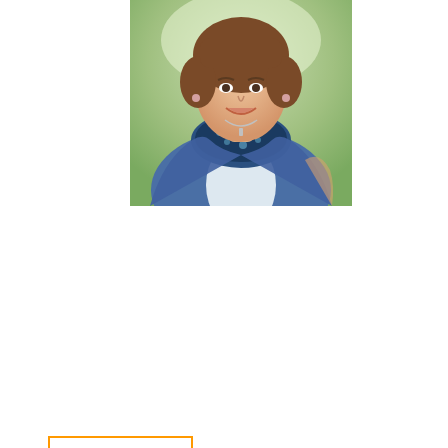[Figure (photo): Portrait photo of a smiling middle-aged woman with brown hair, wearing a blue cardigan and a blue patterned scarf, seated outdoors with blurred green background.]
[Figure (screenshot): Amazon product widget showing the book 'The Best of Hope Heart...' priced at $14.99 with Prime badge and a Shop now button.]